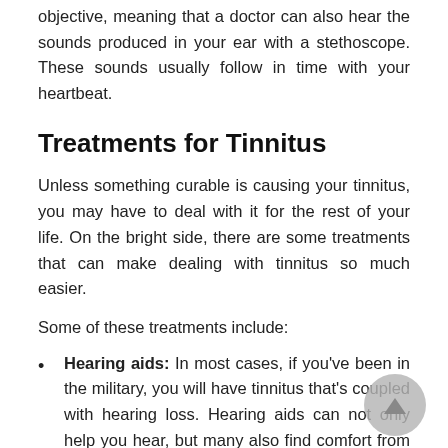objective, meaning that a doctor can also hear the sounds produced in your ear with a stethoscope. These sounds usually follow in time with your heartbeat.
Treatments for Tinnitus
Unless something curable is causing your tinnitus, you may have to deal with it for the rest of your life. On the bright side, there are some treatments that can make dealing with tinnitus so much easier.
Some of these treatments include:
Hearing aids: In most cases, if you've been in the military, you will have tinnitus that's coupled with hearing loss. Hearing aids can not only help you hear, but many also find comfort from tinnitus. The more expensive